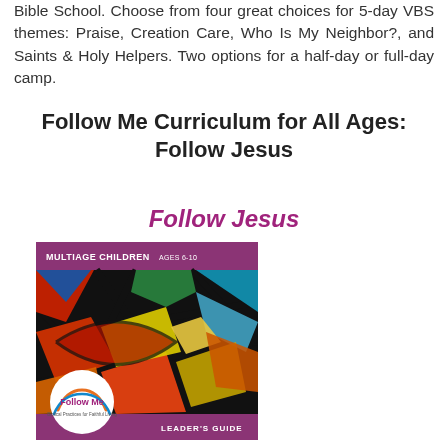Bible School. Choose from four great choices for 5-day VBS themes: Praise, Creation Care, Who Is My Neighbor?, and Saints & Holy Helpers. Two options for a half-day or full-day camp.
Follow Me Curriculum for All Ages: Follow Jesus
Follow Jesus
[Figure (photo): Book cover for 'Follow Me' curriculum - Multiage Children Ages 6-10 Leader's Guide, showing colorful stained glass artwork with a circular Follow Me logo badge at bottom left, on a purple header and footer.]